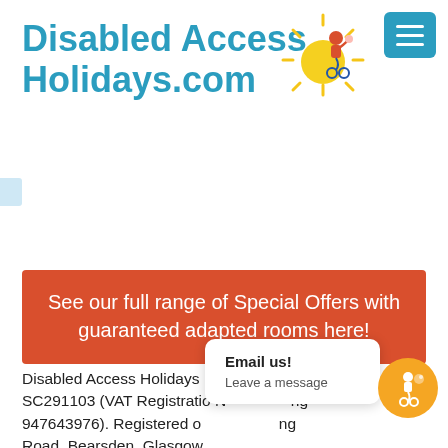Disabled Access Holidays.com
[Figure (illustration): Cartoon sun with a person in a wheelchair giving thumbs up, positioned next to the site logo]
See our full range of Special Offers with guaranteed adapted rooms here!
Disabled Access Holidays Ltd, company number SC291103 (VAT Registration Number 947643976). Registered office: ng Road, Bearsden, Glasgow, ...
We have decided after 17 successful years of